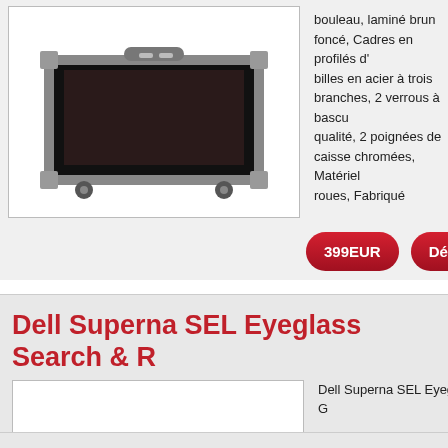bouleau, laminé brun foncé, Cadres en profilés d'aluminium billes en acier à trois branches, 2 verrous à bascu qualité, 2 poignées de caisse chromées, Matériel roues, Fabriqué
399EUR
Détails / Commande
Dell Superna SEL Eyeglass Search & R
Dell Superna SEL Eyeglass Search & Recover 1 G
1736.92EUR
Détails / Commande